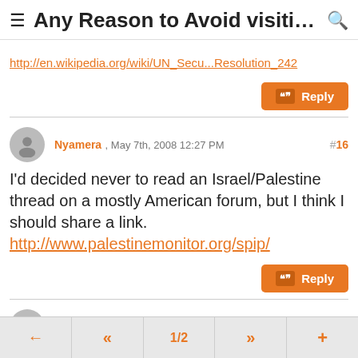Any Reason to Avoid visiting the...
http://en.wikipedia.org/wiki/UN_Secu...Resolution_242
Reply
Nyamera , May 7th, 2008 12:27 PM #16
I'd decided never to read an Israel/Palestine thread on a mostly American forum, but I think I should share a link. http://www.palestinemonitor.org/spip/
Reply
sniktawk , May 7th, 2008 12:31 PM #17
Lifelist
← « 1/2 » +